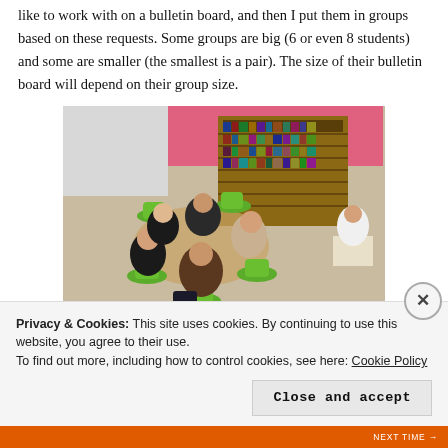like to work with on a bulletin board, and then I put them in groups based on these requests. Some groups are big (6 or even 8 students) and some are smaller (the smallest is a pair). The size of their bulletin board will depend on their group size.
[Figure (photo): Students seated in a circle on green chairs around a table in a classroom or library, working in a group. Bookshelves visible in the background. A pink display board on the wall. Another student visible at right working alone.]
Privacy & Cookies: This site uses cookies. By continuing to use this website, you agree to their use.
To find out more, including how to control cookies, see here: Cookie Policy
Close and accept